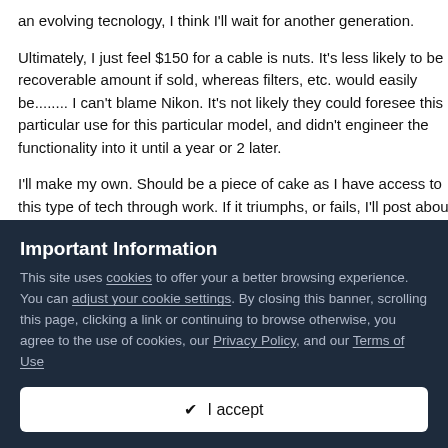an evolving tecnology, I think I'll wait for another generation.

Ultimately, I just feel $150 for a cable is nuts. It's less likely to be a recoverable amount if sold, whereas filters, etc. would easily be........ I can't blame Nikon. It's not likely they could foresee this particular use for this particular model, and didn't engineer the functionality into it until a year or 2 later.

I'll make my own. Should be a piece of cake as I have access to this type of tech through work. If it triumphs, or fails, I'll post about it.... This could take a bit of time as ordering stuff for Canada takes ridiculous time for some reason.
Important Information
This site uses cookies to offer your a better browsing experience. You can adjust your cookie settings. By closing this banner, scrolling this page, clicking a link or continuing to browse otherwise, you agree to the use of cookies, our Privacy Policy, and our Terms of Use
✔ I accept